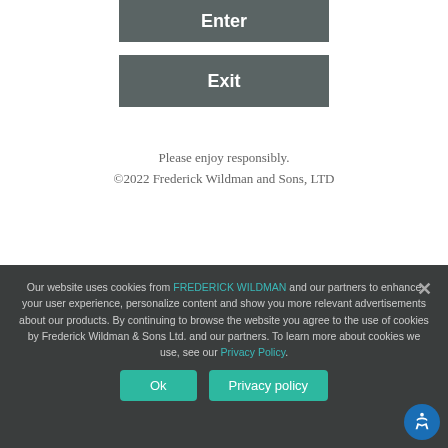Enter
Exit
Please enjoy responsibly.
©2022 Frederick Wildman and Sons, LTD
Our website uses cookies from FREDERICK WILDMAN and our partners to enhance your user experience, personalize content and show you more relevant advertisements about our products. By continuing to browse the website you agree to the use of cookies by Frederick Wildman & Sons Ltd. and our partners. To learn more about cookies we use, see our Privacy Policy.
Ok
Privacy policy